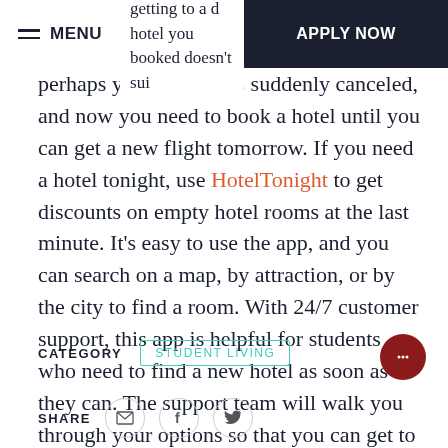MENU | ing worse than getting to a d... hotel you booked doesn't sui... | APPLY NOW
perhaps your flight was suddenly canceled, and now you need to book a hotel until you can get a new flight tomorrow. If you need a hotel tonight, use HotelTonight to get discounts on empty hotel rooms at the last minute. It’s easy to use the app, and you can search on a map, by attraction, or by the city to find a room. With 24/7 customer support, this app is helpful for students who need to find a new hotel as soon as they can. The support team will walk you through your options so that you can get to a safe place as quickly as possible.
CATEGORY   STUDENT LIVING